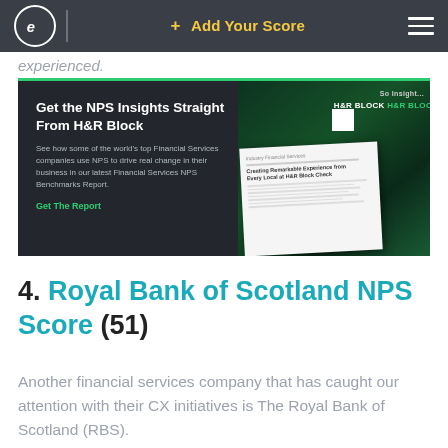+ Add Your Score
experienced.
[Figure (infographic): Advertisement banner for H&R Block NPS Insights report with dark background and green accent. Left side contains heading 'Get the NPS Insights Straight From H&R Block', description text, and 'Get The Report' link. Right side shows H&R Block branding with green background and a document overlay.]
4. Royal Bank of Scotland NPS Score (51)
Another financial services company that has caught our attention with their CX initiatives is The Royal Bank of Scotland (RBS).